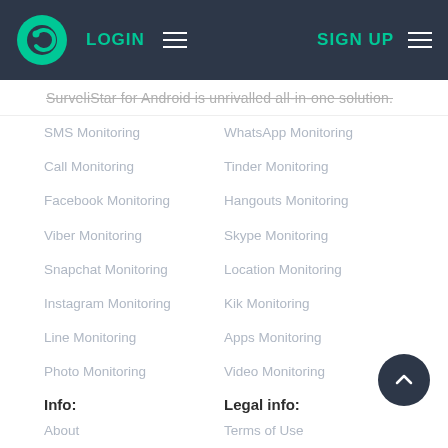LOGIN | SIGN UP
SurveliStar for Android is unrivalled all-in-one solution.
SMS Monitoring
WhatsApp Monitoring
Call Monitoring
Tinder Monitoring
Facebook Monitoring
Hangouts Monitoring
Viber Monitoring
Skype Monitoring
Snapchat Monitoring
Location Monitoring
Instagram Monitoring
Kik Monitoring
Line Monitoring
Apps Monitoring
Photo Monitoring
Video Monitoring
Info:
Legal info:
About
Terms of Use
Contact us
EULA
FAQ
Privacy policy
Tutorial
Refund policy